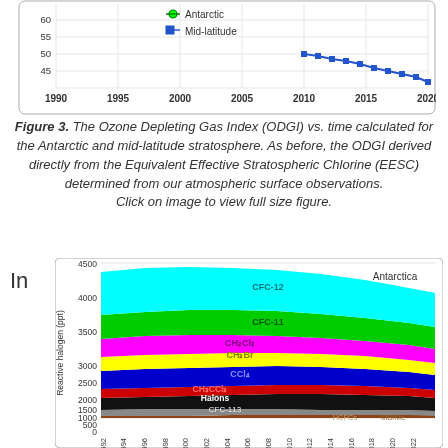[Figure (line-chart): Top portion of a line chart showing ODGI values from 1990 to 2022 for Antarctic (green circles) and Mid-latitude (blue squares). Values range from about 45 to 60 in the visible portion.]
Figure 3. The Ozone Depleting Gas Index (ODGI) vs. time calculated for the Antarctic and mid-latitude stratosphere. As before, the ODGI derived directly from the Equivalent Effective Stratospheric Chlorine (EESC) determined from our atmospheric surface observations. Click on image to view full size figure.
In
[Figure (area-chart): Stacked area chart of reactive halogen species (ppt) in Antarctica from 1992 to 2022. Total peaks around 4200 ppt in early 2000s, declining to about 3500 ppt by 2022. CFC-12 is the dominant contributor (cyan, top layer), followed by CFC-11 (green), CH2Cl2 (magenta), CH3Br (yellow), CCl4 (blue), CH3CCl3 (red), Halons (black), CFC-113 (gray), HCFCs and others near baseline.]